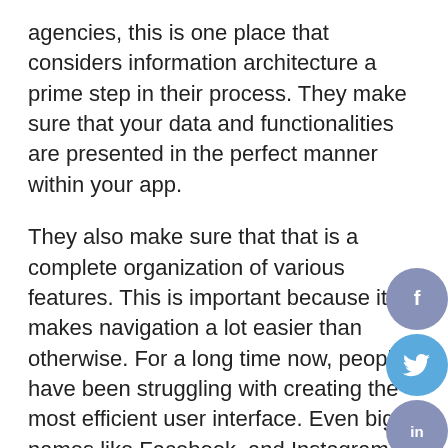agencies, this is one place that considers information architecture a prime step in their process. They make sure that your data and functionalities are presented in the perfect manner within your app.
They also make sure that that is a complete organization of various features. This is important because it makes navigation a lot easier than otherwise. For a long time now, people have been struggling with creating the most efficient user interface. Even big names like Facebook, and Instagram struggle with this issue.
However, this company has a strong understanding of UI development. Therefore,, if you are looking to create something unique, but simple and navigable
[Figure (other): Social media share buttons: Facebook (circle, muted purple), Twitter (circle, blue), LinkedIn (circle, muted purple), Share/upload (circle, blue-grey)]